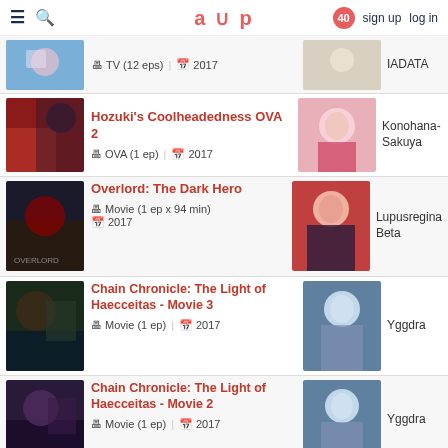aup | sign up  log in | 40
TV (12 eps) | 2017 | IADATA
Hozuki's Coolheadedness OVA 2 | OVA (1 ep) | 2017 | Konohana-Sakuya
Overlord: The Dark Hero | Movie (1 ep x 94 min) | 2017 | Lupusregina Beta
Chain Chronicle: The Light of Haecceitas - Movie 3 | Movie (1 ep) | 2017 | Yggdra
Chain Chronicle: The Light of Haecceitas - Movie 2 | Movie (1 ep) | 2017 | Yggdra